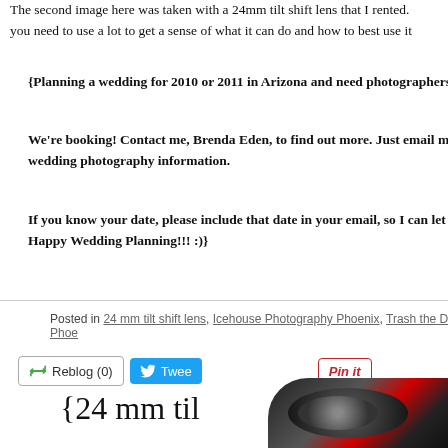The second image here was taken with a 24mm tilt shift lens that I rented. you need to use a lot to get a sense of what it can do and how to best use it
{Planning a wedding for 2010 or 2011 in Arizona and need photographers
We're booking! Contact me, Brenda Eden, to find out more. Just email m wedding photography information.
If you know your date, please include that date in your email, so I can let Happy Wedding Planning!!! :)}
Posted in 24 mm tilt shift lens, Icehouse Photography Phoenix, Trash the Dress Phoe
[Figure (screenshot): Social sharing buttons: Reblog (0), Tweet, Pin it]
21 JANUAR
{24 mm til
[Figure (photo): Partial view of a camera lens at bottom right corner]